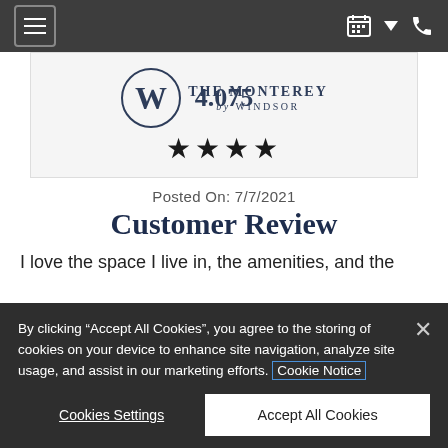Navigation bar with hamburger menu, calendar icon, dropdown arrow, and phone icon
[Figure (logo): The Monterey by Windsor circular W logo with text 'THE MONTEREY by WINDSOR' and rating 4.075]
[Figure (other): Four filled black stars rating display]
Posted On: 7/7/2021
Customer Review
I love the space I live in, the amenities, and the
By clicking “Accept All Cookies”, you agree to the storing of cookies on your device to enhance site navigation, analyze site usage, and assist in our marketing efforts. Cookie Notice
Cookies Settings
Accept All Cookies